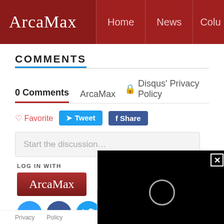ArcaMax | Home | News | Colu...
COMMENTS
0 Comments   ArcaMax   🔒 Disqus' Privacy Policy
♡ Favorite   Tweet   Share
Start the discussion...
LOG IN WITH
[Figure (screenshot): ArcaMax login button (dark red) and social login icons: Disqus (blue), Facebook (dark blue), Twitter (light blue), Google (red). A black video player overlay is shown on the right with a close (X) button and a loading spinner.]
Password
Privacy Policy